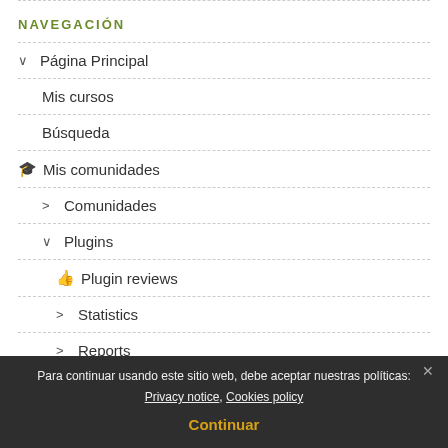NAVEGACIÓN
∨ Página Principal
Mis cursos
Búsqueda
🎓 Mis comunidades
> Comunidades
∨ Plugins
👍 Plugin reviews
> Statistics
> Reports
∨ Plugin types
> Activities
> Themes
> Users
Para continuar usando este sitio web, debe aceptar nuestras políticas: Privacy notice, Cookies policy
Continuar